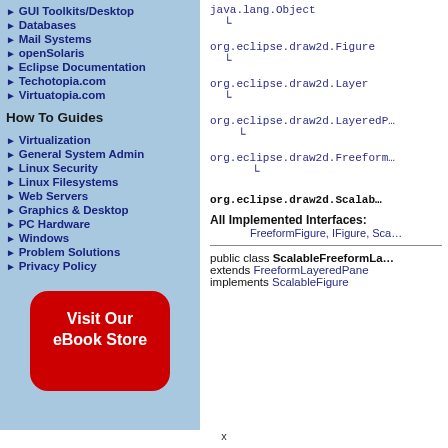GUI Toolkits/Desktop
Databases
Mail Systems
openSolaris
Eclipse Documentation
Techotopia.com
Virtuatopia.com
How To Guides
Virtualization
General System Admin
Linux Security
Linux Filesystems
Web Servers
Graphics & Desktop
PC Hardware
Windows
Problem Solutions
Privacy Policy
[Figure (other): Red rounded rectangle button with white text: Visit Our eBook Store]
java.lang.Object
org.eclipse.draw2d.Figure
org.eclipse.draw2d.Layer
org.eclipse.draw2d.LayeredP...
org.eclipse.draw2d.Freeform...
org.eclipse.draw2d.Scalab...
All Implemented Interfaces:
FreeformFigure, IFigure, Sca...
public class ScalableFreeformLa... extends FreeformLayeredPane implements ScalableFigure